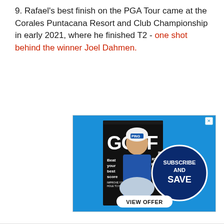9. Rafael's best finish on the PGA Tour came at the Corales Puntacana Resort and Club Championship in early 2021, where he finished T2 - one shot behind the winner Joel Dahmen.
[Figure (illustration): Golf Monthly magazine subscription advertisement on blue background featuring a golfer in a PING hat and winter vest, with 'GOLF MONTHLY' masthead, 'Beat your best score' text, '2021 RYDER CUP PREVIEW' text, a navy blue circle with 'SUBSCRIBE AND SAVE' text, and a white rounded rectangle button reading 'VIEW OFFER'. A small X close button is in the top right corner.]